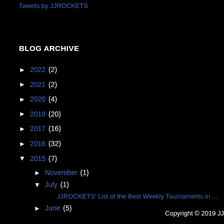Tweets by JJROCKETS
BLOG ARCHIVE
► 2022 (2)
► 2021 (2)
► 2020 (4)
► 2019 (20)
► 2017 (16)
► 2016 (32)
▼ 2015 (7)
► November (1)
▼ July (1)
JJROCKETS' List of the Best Weekly Tournaments in ...
► June (5)
Copyright © 2019 JJ